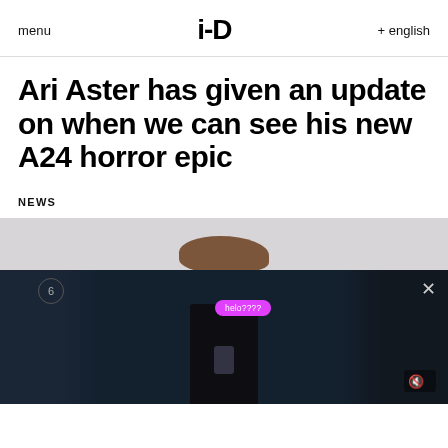menu  i-D  + english
Ari Aster has given an update on when we can see his new A24 horror epic
NEWS
[Figure (photo): Dark cinematic photo showing a person holding a phone in a dimly lit room, with a pink chat bubble overlay saying 'helo???', a circled number 6, and an X close button. The image transitions from a gray/light top portion to a dark teal/navy bottom.]